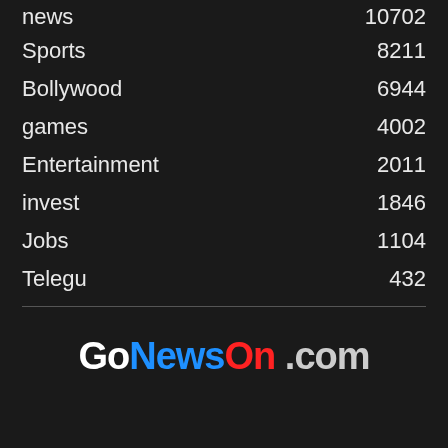news    10702
Sports    8211
Bollywood    6944
games    4002
Entertainment    2011
invest    1846
Jobs    1104
Telegu    432
[Figure (logo): GoNewsOn.com logo with Go in white, News in blue, On in red, .com in grey]